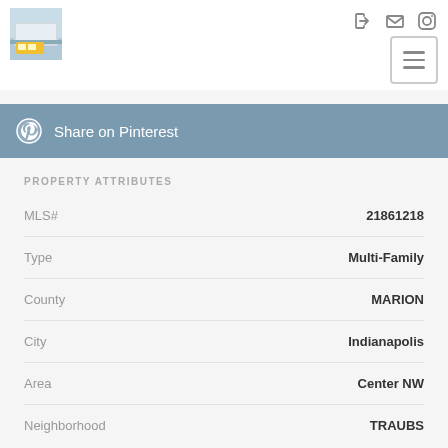[Figure (logo): Website logo thumbnail showing a building with a yellow bus]
[Figure (other): Navigation icons: sign-in, mail, Instagram; hamburger menu button]
Share on Pinterest
PROPERTY ATTRIBUTES
| Attribute | Value |
| --- | --- |
| MLS# | 21861218 |
| Type | Multi-Family |
| County | MARION |
| City | Indianapolis |
| Area | Center NW |
| Neighborhood | TRAUBS |